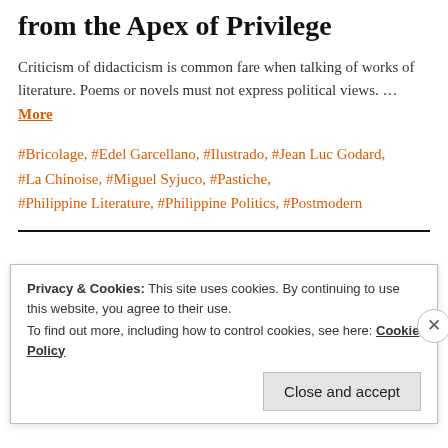from the Apex of Privilege
Criticism of didacticism is common fare when talking of works of literature. Poems or novels must not express political views. … More
#Bricolage, #Edel Garcellano, #Ilustrado, #Jean Luc Godard, #La Chinoise, #Miguel Syjuco, #Pastiche, #Philippine Literature, #Philippine Politics, #Postmodern
Privacy & Cookies: This site uses cookies. By continuing to use this website, you agree to their use. To find out more, including how to control cookies, see here: Cookie Policy